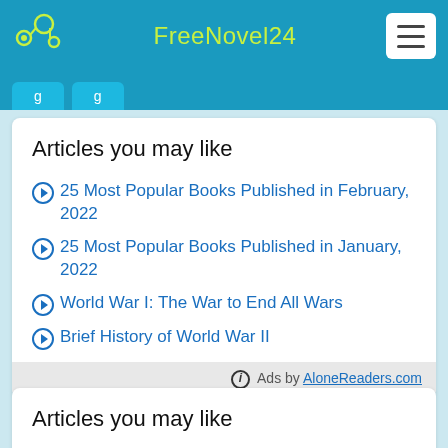FreeNovel24
Articles you may like
25 Most Popular Books Published in February, 2022
25 Most Popular Books Published in January, 2022
World War I: The War to End All Wars
Brief History of World War II
Ads by AloneReaders.com
Articles you may like
History of Ancient Egypt